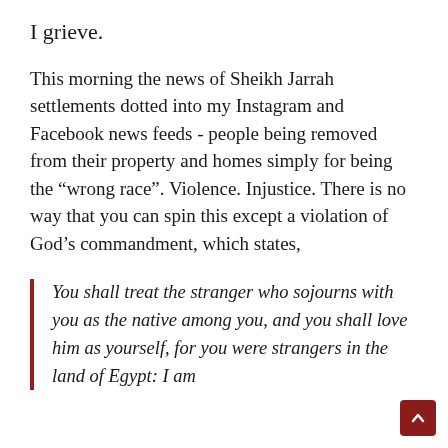I grieve.
This morning the news of Sheikh Jarrah settlements dotted into my Instagram and Facebook news feeds - people being removed from their property and homes simply for being the “wrong race”. Violence. Injustice. There is no way that you can spin this except a violation of God’s commandment, which states,
You shall treat the stranger who sojourns with you as the native among you, and you shall love him as yourself, for you were strangers in the land of Egypt: I am